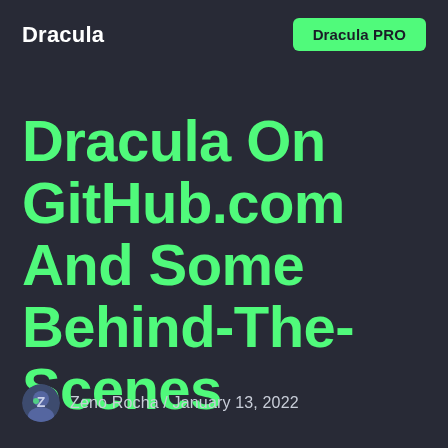Dracula
Dracula PRO
Dracula On GitHub.com And Some Behind-The-Scenes
Zeno Rocha / January 13, 2022